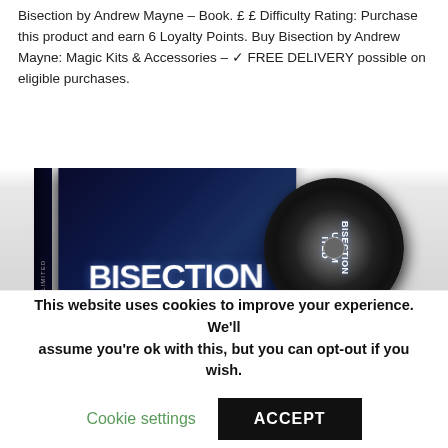Bisection by Andrew Mayne – Book. £ £ Difficulty Rating: Purchase this product and earn 6 Loyalty Points. Buy Bisection by Andrew Mayne: Magic Kits & Accessories – ✓ FREE DELIVERY possible on eligible purchases.
[Figure (photo): DVD case and disc for 'Bisection Unlimited' by Andrew Mayne, showing a dark cover with the performer holding a glowing light, plus a DVD disc partially visible on the right]
This website uses cookies to improve your experience. We'll assume you're ok with this, but you can opt-out if you wish.
Cookie settings    ACCEPT